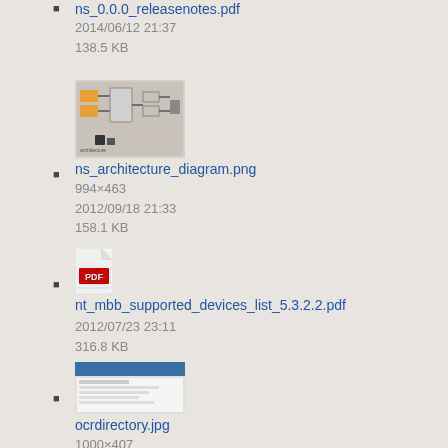ns_0.0.0_releasenotes.pdf
2014/06/12 21:37
138.5 KB
ns_architecture_diagram.png
994×463
2012/09/18 21:33
158.1 KB
nt_mbb_supported_devices_list_5.3.2.2.pdf
2012/07/23 23:11
316.8 KB
ocrdirectory.jpg
1000×407
2012/12/04 23:32